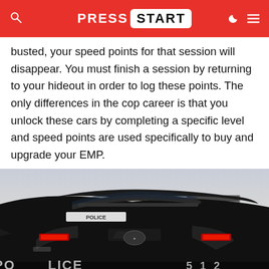PRESS START
busted, your speed points for that session will disappear. You must finish a session by returning to your hideout in order to log these points. The only differences in the cop career is that you unlock these cars by completing a specific level and speed points are used specifically to buy and upgrade your EMP.
[Figure (photo): Rear view of a black police Dodge Viper police car on a desert highway, with other sports cars visible in the distance including a red Ferrari and yellow Porsche. The license plate area shows 'POLICE' and number '512'. Scene appears to be from the video game Need for Speed Rivals.]
Both careers are as enjoyable as each other in terms of